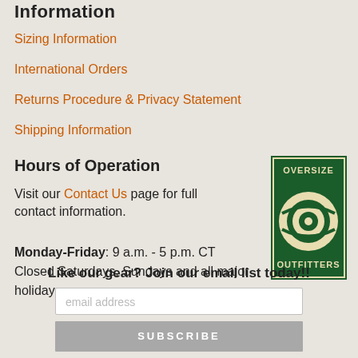Information
Sizing Information
International Orders
Returns Procedure & Privacy Statement
Shipping Information
Hours of Operation
Visit our Contact Us page for full contact information.
Monday-Friday: 9 a.m. - 5 p.m. CT
Closed Saturdays, Sundays and all major holidays.
[Figure (logo): Oversize Outfitters logo: green rectangle with circular eye/arrow design and text OVERSIZE OUTFITTERS]
Like our gear? Join our email list today!!
email address
SUBSCRIBE